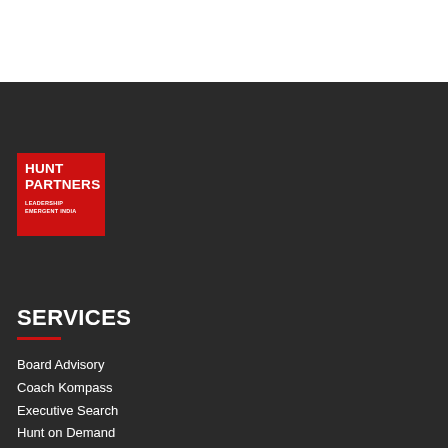[Figure (logo): Hunt Partners logo — red square with white bold text HUNT PARTNERS and white smaller text LEADERSHIP EMERGENT INDIA]
SERVICES
Board Advisory
Coach Kompass
Executive Search
Hunt on Demand